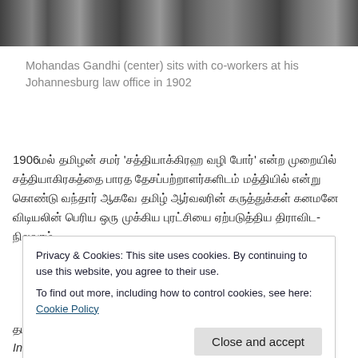[Figure (photo): Black and white photograph showing feet/legs of people sitting, cropped at top of page — Mohandas Gandhi with co-workers at Johannesburg law office in 1902]
Mohandas Gandhi (center) sits with co-workers at his Johannesburg law office in 1902
1906மல் தமிழன் சமர் 'சத்தியாக்கிரஹ வழி போர்' என்ற முறையில் சத்தியாகிரகத்தை பாரத தேசப்பற்றாளர்களிடம் மத்தியில் என்று கொண்டு வந்தார் ஆகவே தமிழ் ஆர்வலரின் கருத்துக்கள் கனமனே விடியலின் பெரிய ஒரு முக்கிய புரட்சியை ஏற்படுத்திய திராவிட-நிலவரம் Indian Opinion பற்றிய பல
Privacy & Cookies: This site uses cookies. By continuing to use this website, you agree to their use.
To find out more, including how to control cookies, see here: Cookie Policy
Close and accept
தமிழகத் தலைவர் காலனியாளர் பொதுவாக பட்டியல் தலைமை Indian Opinion பற்றிய பல